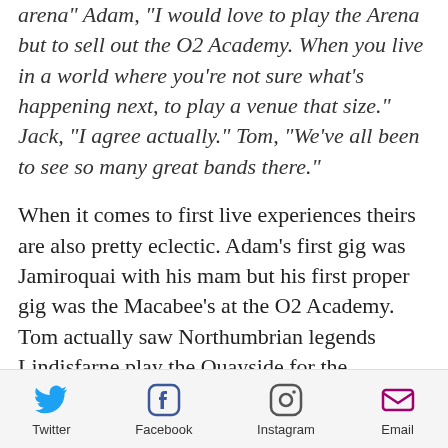arena" Adam, "I would love to play the Arena but to sell out the O2 Academy. When you live in a world where you're not sure what's happening next, to play a venue that size." Jack, "I agree actually." Tom, "We've all been to see so many great bands there."
When it comes to first live experiences theirs are also pretty eclectic. Adam's first gig was Jamiroquai with his mam but his first proper gig was the Macabee's at the O2 Academy. Tom actually saw Northumbrian legends Lindisfarne play the Quayside for the Millennium New Year, but his first proper gig was The Automatic at
Twitter  Facebook  Instagram  Email